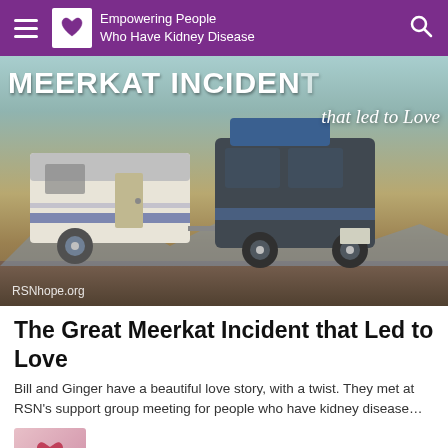Empowering People Who Have Kidney Disease
[Figure (photo): Book cover image showing a vintage camper trailer being towed by a van in a desert landscape. Text reads 'MEERKAT INCIDENT that led to Love'. Watermark: RSNhope.org]
The Great Meerkat Incident that Led to Love
Bill and Ginger have a beautiful love story, with a twist. They met at RSN's support group meeting for people who have kidney disease...
The Importance of Oxygen During Hemodialysis